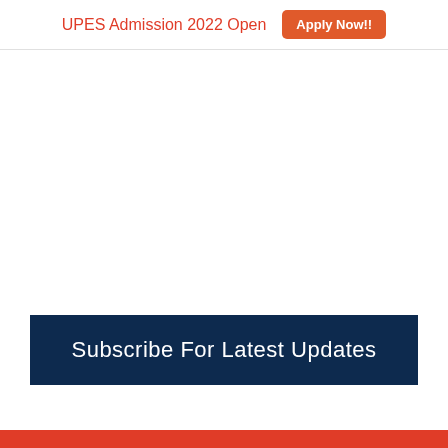UPES Admission 2022 Open  Apply Now!!
Subscribe For Latest Updates